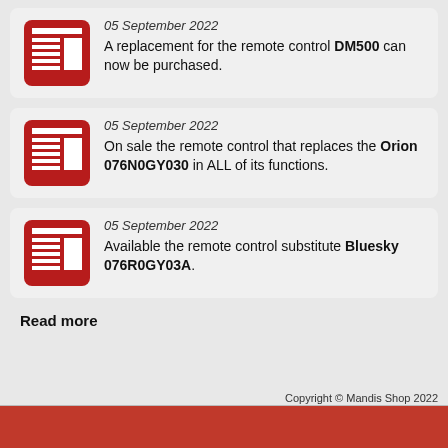05 September 2022
A replacement for the remote control DM500 can now be purchased.
05 September 2022
On sale the remote control that replaces the Orion 076N0GY030 in ALL of its functions.
05 September 2022
Available the remote control substitute Bluesky 076R0GY03A.
Read more
Copyright © Mandis Shop 2022